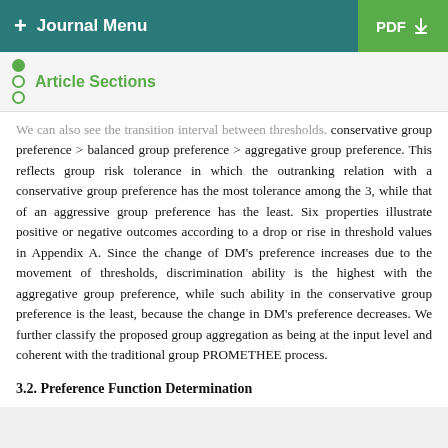+ Journal Menu   PDF ↓
Article Sections
We can also see the transition interval between thresholds: conservative group preference > balanced group preference > aggregative group preference. This reflects group risk tolerance in which the outranking relation with a conservative group preference has the most tolerance among the 3, while that of an aggressive group preference has the least. Six properties illustrate positive or negative outcomes according to a drop or rise in threshold values in Appendix A. Since the change of DM's preference increases due to the movement of thresholds, discrimination ability is the highest with the aggregative group preference, while such ability in the conservative group preference is the least, because the change in DM's preference decreases. We further classify the proposed group aggregation as being at the input level and coherent with the traditional group PROMETHEE process.
3.2. Preference Function Determination